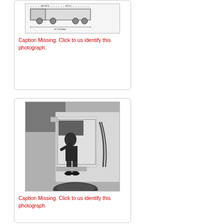[Figure (schematic): Technical schematic/diagram of a truck or vehicle, top-down or side view with measurement lines]
Caption Missing. Click to us identify this photograph.
[Figure (photo): Black and white photograph of a person climbing into or working in the cab of a large truck or vehicle]
Caption Missing. Click to us identify this photograph.